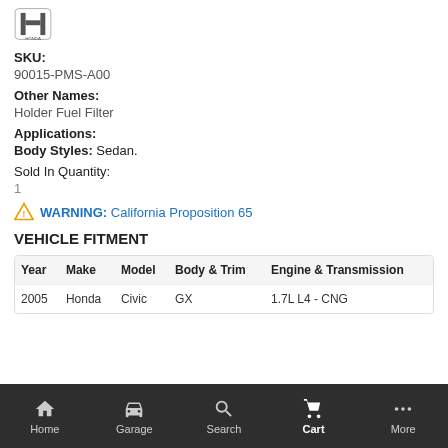[Figure (logo): Honda logo at top left]
SKU:
90015-PMS-A00
Other Names:
Holder Fuel Filter
Applications:
Body Styles: Sedan.
Sold In Quantity:
1
⚠ WARNING: California Proposition 65
VEHICLE FITMENT
| Year | Make | Model | Body & Trim | Engine & Transmission |
| --- | --- | --- | --- | --- |
| 2005 | Honda | Civic | GX | 1.7L L4 - CNG |
Home  Garage  Search  Cart  More